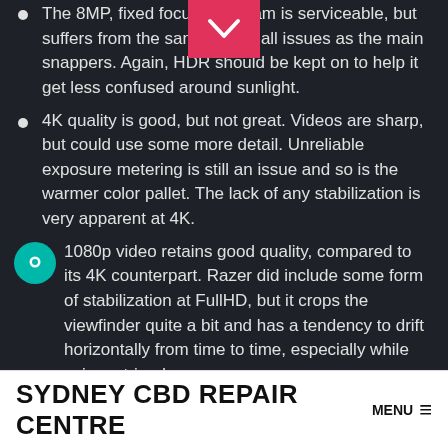The 8MP, fixed focus selfiecam is serviceable, but suffers from the same overall issues as the main snappers. Again, HDR should be kept on to help it get less confused around sunlight.
4K quality is good, but not great. Videos are sharp, but could use some more detail. Unreliable exposure metering is still an issue and so is the warmer color pallet. The lack of any stabilization is very apparent at 4K.
1080p video retains good quality, compared to its 4K counterpart. Razer did include some form of stabilization at FullHD, but it crops the viewfinder quite a bit and has a tendency to drift horizontally from time to time, especially while using a tripod.
On a more positive note, Razer does seem to have the
SYDNEY CBD REPAIR CENTRE  MENU ≡